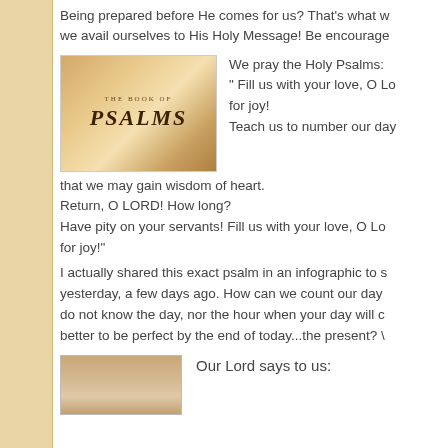Being prepared before He comes for us? That's what we avail ourselves to His Holy Message! Be encouraged
[Figure (photo): Book of Psalms open page with title PSALMS visible]
We pray the Holy Psalms:
" Fill us with your love, O Lo for joy!
Teach us to number our day
that we may gain wisdom of heart.
Return, O LORD! How long?
Have pity on your servants! Fill us with your love, O Lo for joy!"
I actually shared this exact psalm in an infographic to s yesterday, a few days ago. How can we count our day do not know the day, nor the hour when your day will c better to be perfect by the end of today...the present?
[Figure (photo): Person photo - partial view of a person's head]
Our Lord says to us: